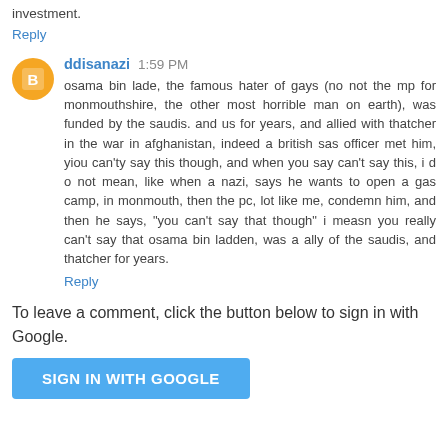investment.
Reply
ddisanazi  1:59 PM
osama bin lade, the famous hater of gays (no not the mp for monmouthshire, the other most horrible man on earth), was funded by the saudis. and us for years, and allied with thatcher in the war in afghanistan, indeed a british sas officer met him, yiou can'ty say this though, and when you say can't say this, i d o not mean, like when a nazi, says he wants to open a gas camp, in monmouth, then the pc, lot like me, condemn him, and then he says, "you can't say that though" i measn you really can't say that osama bin ladden, was a ally of the saudis, and thatcher for years.
Reply
To leave a comment, click the button below to sign in with Google.
SIGN IN WITH GOOGLE